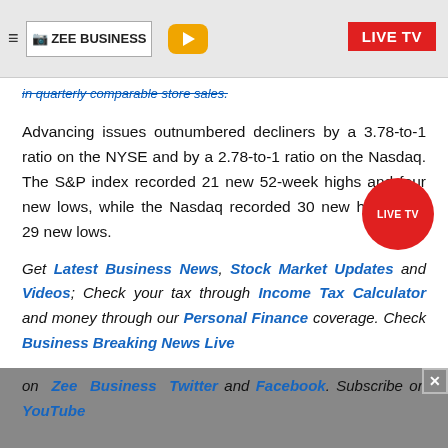ZEE BUSINESS | LIVE TV
in quarterly comparable store sales.
Advancing issues outnumbered decliners by a 3.78-to-1 ratio on the NYSE and by a 2.78-to-1 ratio on the Nasdaq. The S&P index recorded 21 new 52-week highs and four new lows, while the Nasdaq recorded 30 new highs and 29 new lows.
Get Latest Business News, Stock Market Updates and Videos; Check your tax through Income Tax Calculator and money through our Personal Finance coverage. Check Business Breaking News Live on Zee Business Twitter and Facebook. Subscribe on YouTube.